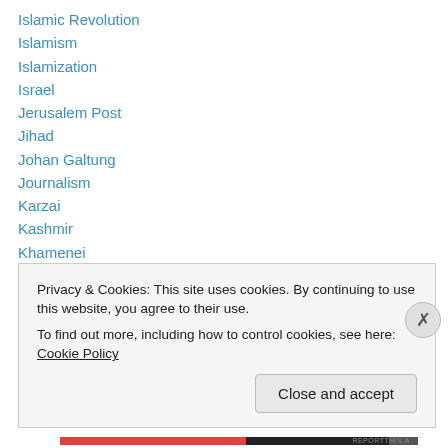Islamic Revolution
Islamism
Islamization
Israel
Jerusalem Post
Jihad
Johan Galtung
Journalism
Karzai
Kashmir
Khamenei
Khanpur
Killing the Cranes
Privacy & Cookies: This site uses cookies. By continuing to use this website, you agree to their use. To find out more, including how to control cookies, see here: Cookie Policy
Close and accept